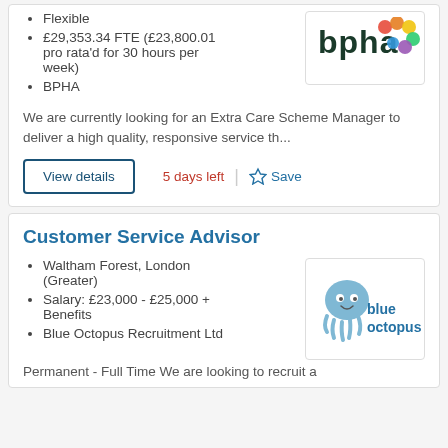Flexible
£29,353.34 FTE (£23,800.01 pro rata'd for 30 hours per week)
BPHA
[Figure (logo): BPHA logo - bold colorful text]
We are currently looking for an Extra Care Scheme Manager to deliver a high quality, responsive service th...
View details
5 days left
Save
Customer Service Advisor
Waltham Forest, London (Greater)
Salary: £23,000 - £25,000 + Benefits
Blue Octopus Recruitment Ltd
[Figure (logo): Blue Octopus logo - octopus illustration with blue octopus text]
Permanent - Full Time We are looking to recruit a